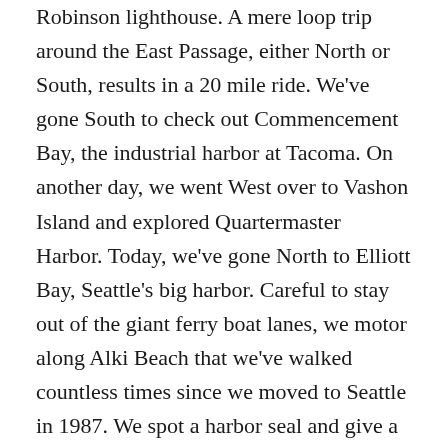Robinson lighthouse. A mere loop trip around the East Passage, either North or South, results in a 20 mile ride. We've gone South to check out Commencement Bay, the industrial harbor at Tacoma. On another day, we went West over to Vashon Island and explored Quartermaster Harbor. Today, we've gone North to Elliott Bay, Seattle's big harbor. Careful to stay out of the giant ferry boat lanes, we motor along Alki Beach that we've walked countless times since we moved to Seattle in 1987. We spot a harbor seal and give a couple of fishermen wide berth. A Seattle Police boat joins us along the shore and we follow it around Duwamish Head. Now we are directly opposite the Seattle skyline